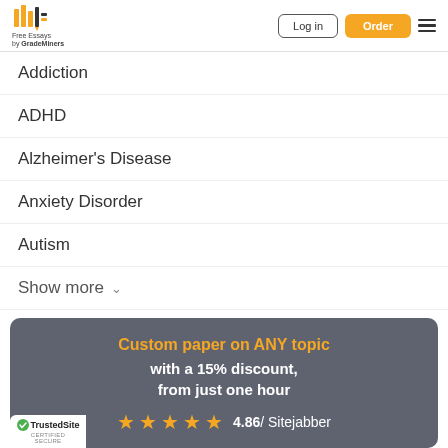Free Essays by GradeMiners — Log in | Order
Addiction
ADHD
Alzheimer's Disease
Anxiety Disorder
Autism
Show more
Custom paper on ANY topic with a 15% discount, from just one hour
4.86 / Sitejabber